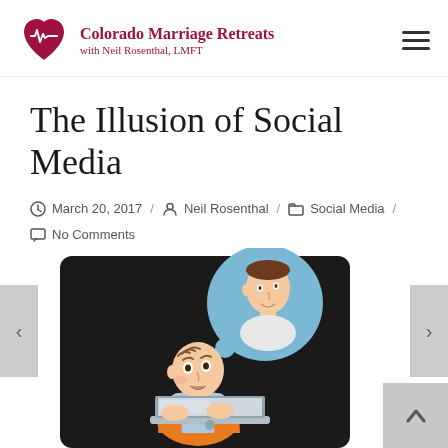Colorado Marriage Retreats with Neil Rosenthal, LMFT
The Illusion of Social Media
March 20, 2017 / Neil Rosenthal / Social Media / No Comments
[Figure (illustration): Cartoon illustration of a balding man sitting at a laptop, with a thought bubble showing a more attractive, younger version of himself — depicting the illusion of social media identity.]